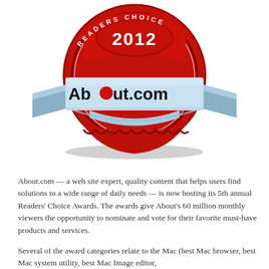[Figure (logo): About.com Readers' Choice Award 2012 badge — a red and silver medallion/seal with a serrated edge, featuring the year '2012' at the top in white on red, a silver ribbon banner across the middle with 'About.com' in black text (the 'o' in 'About' replaced by a red dot), and layered ribbon tails below.]
About.com — a web site expert, quality content that helps users find solutions to a wide range of daily needs — is now hosting its 5th annual Readers' Choice Awards. The awards give About's 60 million monthly viewers the opportunity to nominate and vote for their favorite must-have products and services.
Several of the award categories relate to the Mac (best Mac browser, best Mac system utility, best Mac Image editor,